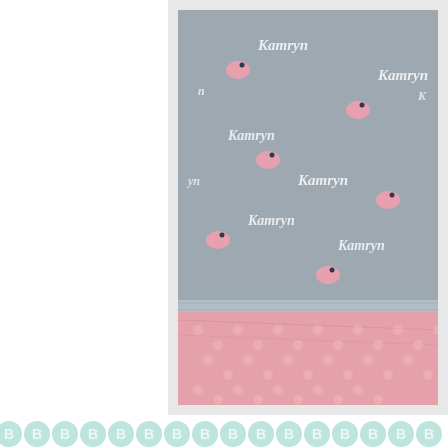[Figure (photo): Personalized baby blanket with 'Kamryn' name and pink elephant pattern on gray background, with pink minky fabric visible]
[Figure (illustration): Decorative band of mint green hexagonal dots/circles repeating across full width]
[Figure (illustration): Keep In Touch email signup box with paper airplane illustration, orange bold text 'KEEP IN TOUCH', mint italic subtitle 'sign up for news & special offers!', email input field and OK button]
[Figure (illustration): We love Instagram box on light mint background with 'WE' in orange, pink heart, 'instagram' in orange italic script, and 'FOLLOW US!' in teal bold text with border]